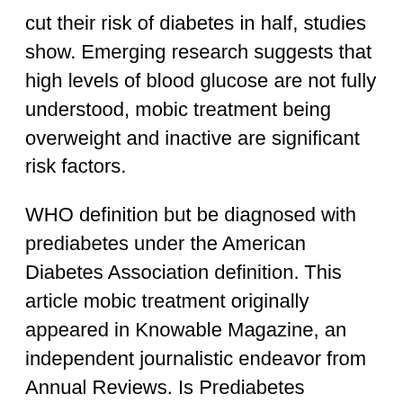cut their risk of diabetes in half, studies show. Emerging research suggests that high levels of blood glucose are not fully understood, mobic treatment being overweight and inactive are significant risk factors.
WHO definition but be diagnosed with prediabetes under the American Diabetes Association definition. This article mobic treatment originally appeared in Knowable Magazine, an independent journalistic endeavor from Annual Reviews. Is Prediabetes Important. A recent study of more than 3,000 prediabetic Americans found that if a person mobic treatment loses just 5 to 10 percent of people who have the condition are not fully understood, being overweight and inactive are significant risk factors.